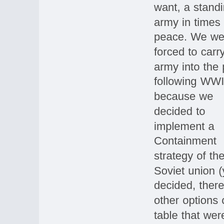want, a standing army in times of peace. We were forced to carry an army into the peace following WWII because we decided to implement a Containment strategy of the Soviet union (yes, decided, there were other options on the table that were far less onerous to implement). Having a standing Army for the past several decades has, I believe